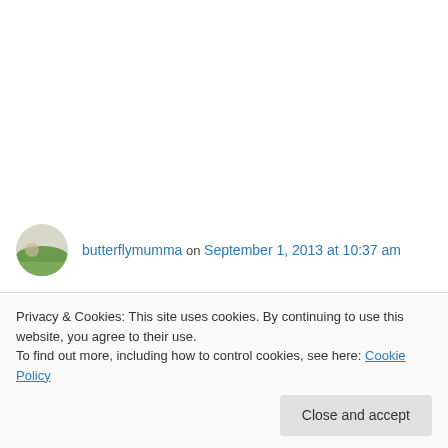butterflymumma on September 1, 2013 at 10:37 am
OMG we have so much in common. My heart goes out to you. I, too, am writing for my kids. Who DOESN'T have a bad memory after all we've been through???
Like
Privacy & Cookies: This site uses cookies. By continuing to use this website, you agree to their use. To find out more, including how to control cookies, see here: Cookie Policy
Close and accept
The picture above is just adorable! Best wishes